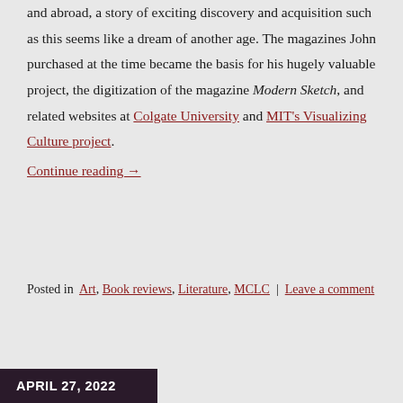and abroad, a story of exciting discovery and acquisition such as this seems like a dream of another age. The magazines John purchased at the time became the basis for his hugely valuable project, the digitization of the magazine Modern Sketch, and related websites at Colgate University and MIT's Visualizing Culture project. Continue reading →
Posted in Art, Book reviews, Literature, MCLC | Leave a comment
APRIL 27, 2022